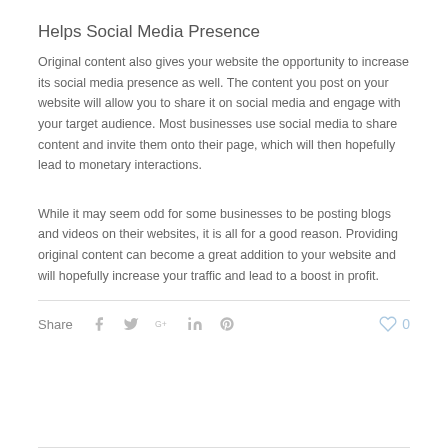Helps Social Media Presence
Original content also gives your website the opportunity to increase its social media presence as well. The content you post on your website will allow you to share it on social media and engage with your target audience. Most businesses use social media to share content and invite them onto their page, which will then hopefully lead to monetary interactions.
While it may seem odd for some businesses to be posting blogs and videos on their websites, it is all for a good reason. Providing original content can become a great addition to your website and will hopefully increase your traffic and lead to a boost in profit.
Share  0